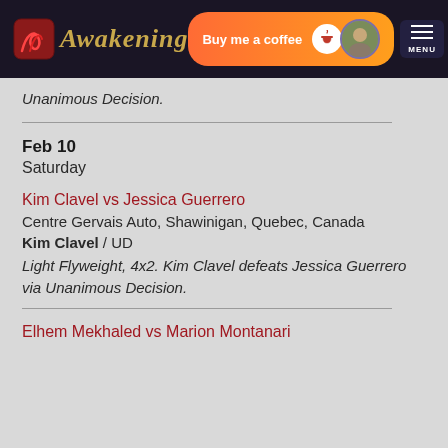Awakening — Buy me a coffee — MENU
Unanimous Decision.
Feb 10
Saturday
Kim Clavel vs Jessica Guerrero
Centre Gervais Auto, Shawinigan, Quebec, Canada
Kim Clavel / UD
Light Flyweight, 4x2. Kim Clavel defeats Jessica Guerrero via Unanimous Decision.
Elhem Mekhaled vs Marion Montanari